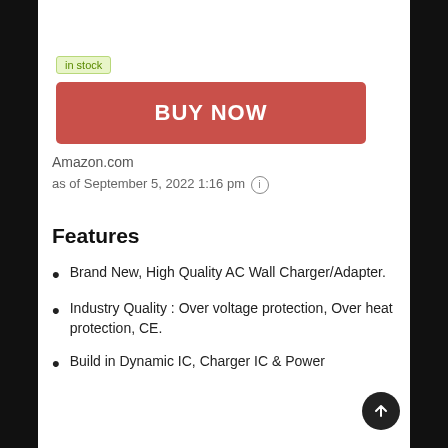in stock
BUY NOW
Amazon.com
as of September 5, 2022 1:16 pm ℹ
Features
Brand New, High Quality AC Wall Charger/Adapter.
Industry Quality : Over voltage protection, Over heat protection, CE.
Build in Dynamic IC, Charger IC & Power